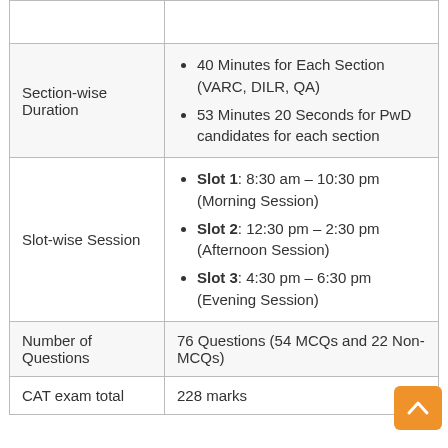| Category | Details |
| --- | --- |
|  |  |
| Section-wise Duration | 40 Minutes for Each Section (VARC, DILR, QA)
53 Minutes 20 Seconds for PwD candidates for each section |
| Slot-wise Session | Slot 1: 8:30 am – 10:30 pm (Morning Session)
Slot 2: 12:30 pm – 2:30 pm (Afternoon Session)
Slot 3: 4:30 pm – 6:30 pm (Evening Session) |
| Number of Questions | 76 Questions (54 MCQs and 22 Non-MCQs) |
| CAT exam total | 228 marks |